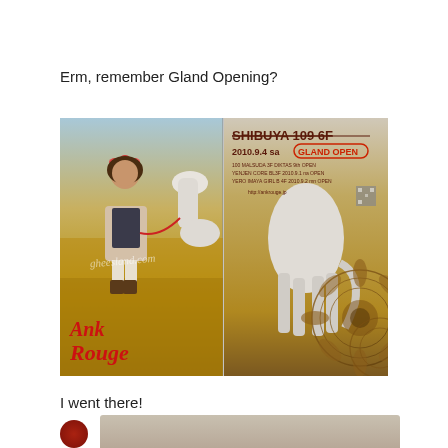Erm, remember Gland Opening?
[Figure (photo): Promotional advertisement image for Ank Rouge brand. Left panel shows a young woman with floral headpiece standing in a golden field holding a white horse by a red lead rope, with 'Ank Rouge' in red italic text at bottom left and a watermark 'gheesland.com'. Right panel shows the white horse from behind with decorative mandala/lace pattern, and top text reading 'SHIBUYA 109 6F' with strikethrough, '2010.9.4 sa' and 'GLAND OPEN' circled in red, plus store location details and a QR code.]
I went there!